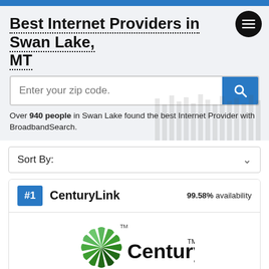Best Internet Providers in Swan Lake, MT
Over 940 people in Swan Lake found the best Internet Provider with BroadbandSearch.
Sort By:
#1  CenturyLink  99.58% availability
[Figure (logo): CenturyLink logo: green sunburst/pinwheel icon on the left with 'TM' superscript, and 'CenturyLink' in bold black text with 'TM' superscript on the right]
Speed up to:    Price from:    User Review: